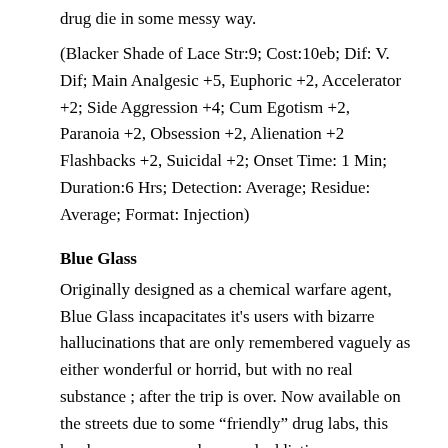drug die in some messy way.
(Blacker Shade of Lace Str:9; Cost:10eb; Dif: V. Dif; Main Analgesic +5, Euphoric +2, Accelerator +2; Side Aggression +4; Cum Egotism +2, Paranoia +2, Obsession +2, Alienation +2 Flashbacks +2, Suicidal +2; Onset Time: 1 Min; Duration:6 Hrs; Detection: Average; Residue: Average; Format: Injection)
Blue Glass
Originally designed as a chemical warfare agent, Blue Glass incapacitates it's users with bizarre hallucinations that are only remembered vaguely as either wonderful or horrid, but with no real substance ; after the trip is over. Now available on the streets due to some “friendly” drug labs, this has become a very cheap and addictive hallucinogen.
(Blue Glass Str:10; Cost:5eb (base penalty); Dif: Difficult...